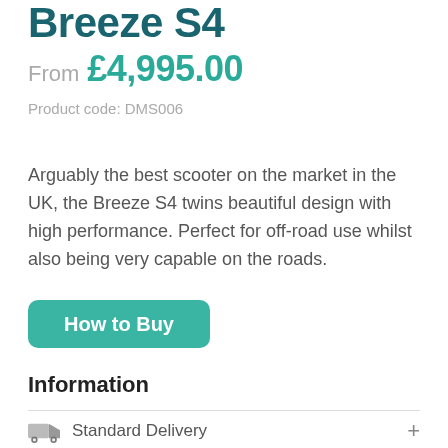Breeze S4
From £4,995.00
Product code: DMS006
Arguably the best scooter on the market in the UK, the Breeze S4 twins beautiful design with high performance. Perfect for off-road use whilst also being very capable on the roads.
How to Buy
Information
Standard Delivery